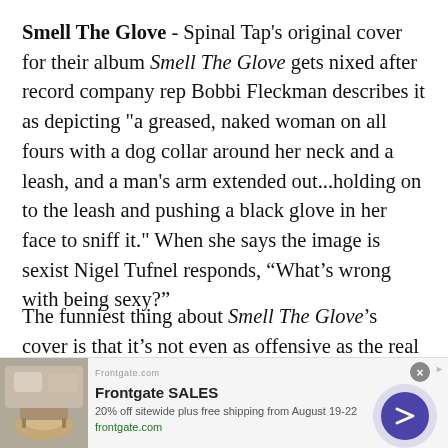Smell The Glove - Spinal Tap's original cover for their album Smell The Glove gets nixed after record company rep Bobbi Fleckman describes it as depicting "a greased, naked woman on all fours with a dog collar around her neck and a leash, and a man's arm extended out...holding on to the leash and pushing a black glove in her face to sniff it." When she says the image is sexist Nigel Tufnel responds, “What’s wrong with being sexy?”
The funniest thing about Smell The Glove’s cover is that it’s not even as offensive as the real album cover
[Figure (other): Advertisement banner for Frontgate SALES showing outdoor furniture with a fire pit, text '20% off sitewide plus free shipping from August 19-22', frontgate.com URL, and a circular arrow button.]